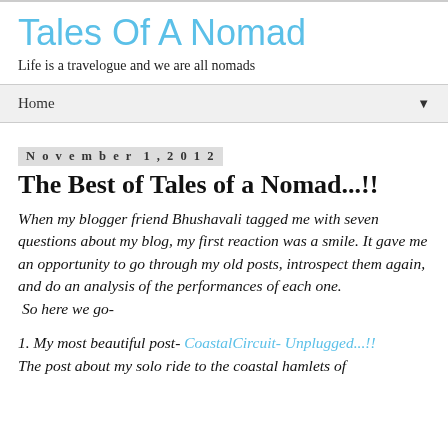Tales Of A Nomad
Life is a travelogue and we are all nomads
Home ▼
November 1, 2012
The Best of Tales of a Nomad...!!
When my blogger friend Bhushavali tagged me with seven questions about my blog, my first reaction was a smile. It gave me an opportunity to go through my old posts, introspect them again, and do an analysis of the performances of each one.
 So here we go-
1. My most beautiful post- CoastalCircuit- Unplugged...!!
The post about my solo ride to the coastal hamlets of